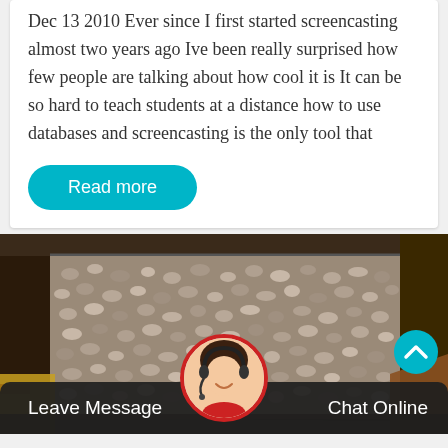Dec 13 2010 Ever since I first started screencasting almost two years ago Ive been really surprised how few people are talking about how cool it is It can be so hard to teach students at a distance how to use databases and screencasting is the only tool that
Read more
[Figure (photo): Aerial or close-up view of gravel/rocks on a conveyor belt or rail cart, with dark metal frame edges visible and green foliage in the background.]
Leave Message
Chat Online